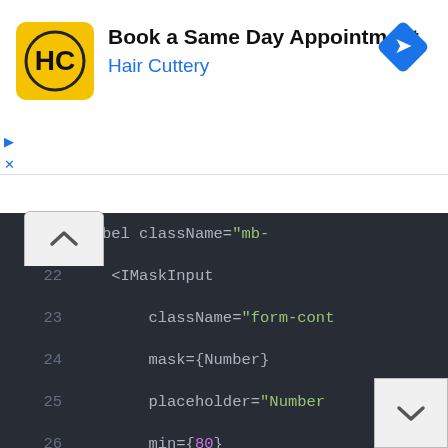[Figure (screenshot): Advertisement banner for Hair Cuttery: 'Book a Same Day Appointment' with Hair Cuttery logo and Google Maps navigation icon]
[Figure (screenshot): Code editor screenshot showing JSX/React code with IMaskInput component, lines 22-33, dark theme editor with syntax highlighting]